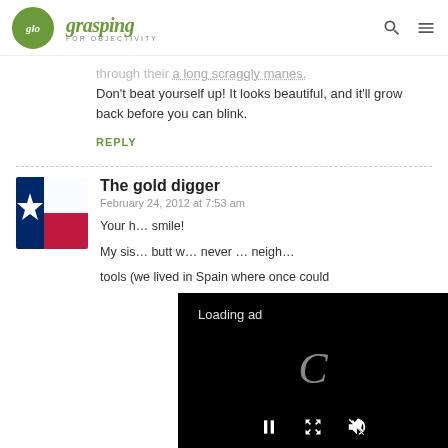glo grasping FOR OBJECTIVITY
through their along scraggly manes. Don't beat yourself up! It looks beautiful, and it'll grow back before you can blink.
REPLY
The gold digger
February 24, 2012 at 7:53 am
Your h… smile!
My sis… butt w… never … neigh…
tools (we lived in Spain where once could
[Figure (screenshot): Loading ad overlay with black background, 'Loading ad' text, spinning C loader icon, pause/resize/mute controls at bottom]